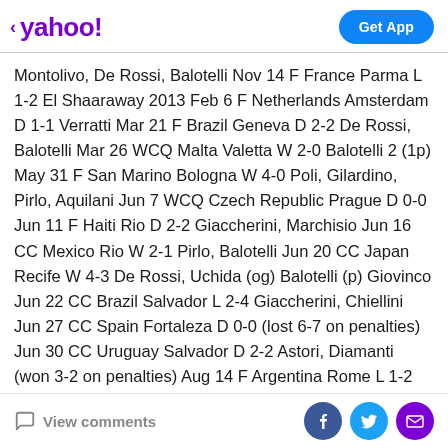< yahoo! Get App
Montolivo, De Rossi, Balotelli Nov 14 F France Parma L 1-2 El Shaaraway 2013 Feb 6 F Netherlands Amsterdam D 1-1 Verratti Mar 21 F Brazil Geneva D 2-2 De Rossi, Balotelli Mar 26 WCQ Malta Valetta W 2-0 Balotelli 2 (1p) May 31 F San Marino Bologna W 4-0 Poli, Gilardino, Pirlo, Aquilani Jun 7 WCQ Czech Republic Prague D 0-0 Jun 11 F Haiti Rio D 2-2 Giaccherini, Marchisio Jun 16 CC Mexico Rio W 2-1 Pirlo, Balotelli Jun 20 CC Japan Recife W 4-3 De Rossi, Uchida (og) Balotelli (p) Giovinco Jun 22 CC Brazil Salvador L 2-4 Giaccherini, Chiellini Jun 27 CC Spain Fortaleza D 0-0 (lost 6-7 on penalties) Jun 30 CC Uruguay Salvador D 2-2 Astori, Diamanti (won 3-2 on penalties) Aug 14 F Argentina Rome L 1-2 Insigne Sep 6 WCQ
View comments